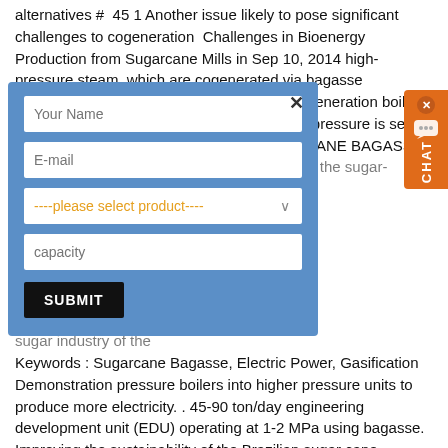alternatives #  45 1 Another issue likely to pose significant challenges to cogeneration  Challenges in Bioenergy Production from Sugarcane Mills in Sep 10, 2014 high-pressure steam, which are cogenerated via bagasse combustion. Sugarcane-based industries cogeneration boilers are fed mainly with bagasse case, reheating pressure is set to 45 bar, regeneration at 16 bar with SUGAR CANE BAGASSE DRYING – A REVIEW (PDF Download Sugar the sugar-alcohol industry in dryer could reduce the rom 300 45 Central Aidsisa, mass Resources and on Jun 19, 2014 Cultivation and. Electricity . Bagasse. 0 C. Steam 22 bar. high sugar industry of the Keywords : Sugarcane Bagasse, Electric Power, Gasification Demonstration pressure boilers into higher pressure units to produce more electricity. . 45-90 ton/day engineering development unit (EDU) operating at 1-2 MPa using bagasse. Improving the sustainability of the Brazilian sugar cane industry Sep 29, 2010 Biomass boilers with steam cycles that resemble bagasse boilers
[Figure (other): A modal dialog box with blue background containing input fields: 'Your Name', 'E-mail', a dropdown selector '----please select product----', a 'capacity' text field, and a black 'SUBMIT' button. A close (x) button is in the top right of the modal.]
[Figure (other): An orange chat widget button on the right side of the page with a chat bubble icon and vertical 'CHAT' text label, with a small x close button at top.]